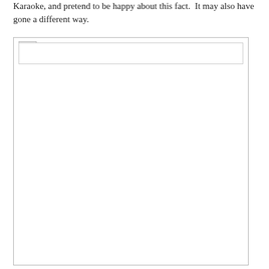Karaoke, and pretend to be happy about this fact.  It may also have gone a different way.
[Figure (other): A broken/missing image placeholder with a small broken image icon in the top-left corner, shown inside a bordered rectangle.]